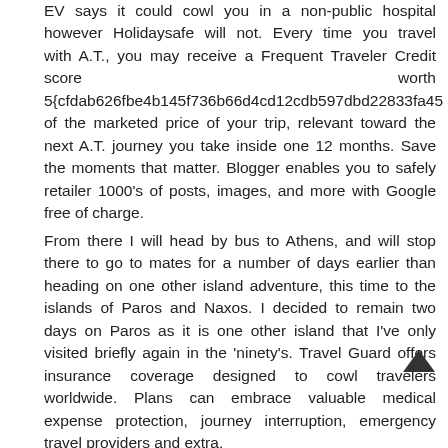EV says it could cowl you in a non-public hospital however Holidaysafe will not. Every time you travel with A.T., you may receive a Frequent Traveler Credit score worth 5{cfdab626fbe4b145f736b66d4cd12cdb597dbd22833fa45 of the marketed price of your trip, relevant toward the next A.T. journey you take inside one 12 months. Save the moments that matter. Blogger enables you to safely retailer 1000's of posts, images, and more with Google free of charge.
From there I will head by bus to Athens, and will stop there to go to mates for a number of days earlier than heading on one other island adventure, this time to the islands of Paros and Naxos. I decided to remain two days on Paros as it is one other island that I've only visited briefly again in the 'ninety's. Travel Guard offers insurance coverage designed to cowl travelers worldwide. Plans can embrace valuable medical expense protection, journey interruption, emergency travel providers and extra.